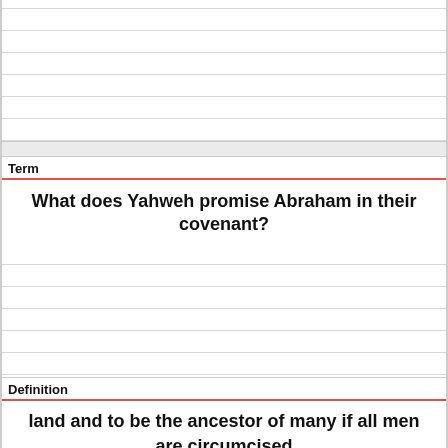Term
What does Yahweh promise Abraham in their covenant?
Definition
land and to be the ancestor of many if all men are circumcised